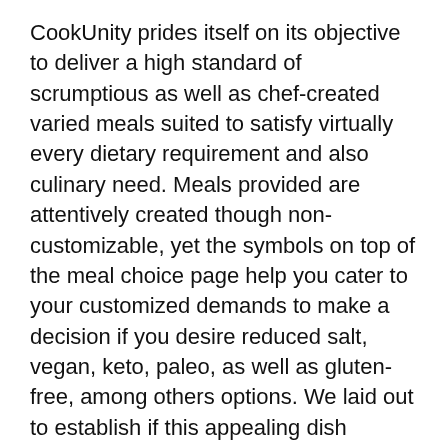CookUnity prides itself on its objective to deliver a high standard of scrumptious as well as chef-created varied meals suited to satisfy virtually every dietary requirement and also culinary need. Meals provided are attentively created though non-customizable, yet the symbols on top of the meal choice page help you cater to your customized demands to make a decision if you desire reduced salt, vegan, keto, paleo, as well as gluten-free, among others options. We laid out to establish if this appealing dish solution can provide on its guarantee.
What is CookUnity?
CookUnity was established in 2015 by Mateo